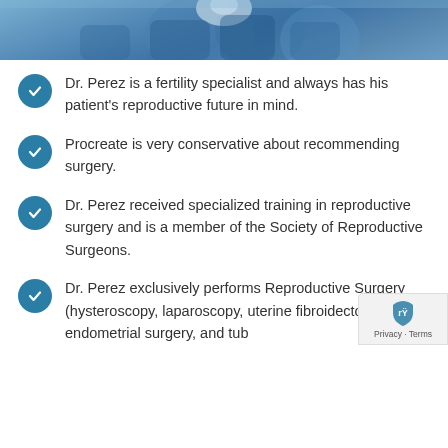[Figure (photo): Medical professionals in blue surgical scrubs/gowns in an operating room setting, partial view showing upper portion of the scene.]
Dr. Perez is a fertility specialist and always has his patient's reproductive future in mind.
Procreate is very conservative about recommending surgery.
Dr. Perez received specialized training in reproductive surgery and is a member of the Society of Reproductive Surgeons.
Dr. Perez exclusively performs Reproductive Surgery (hysteroscopy, laparoscopy, uterine fibroidectomy, endometrial surgery, and tubal ligation reversal).